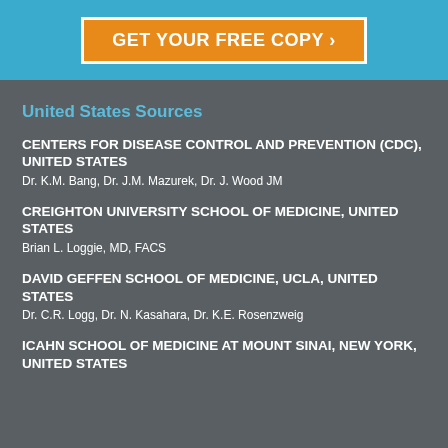[Figure (other): Orange CTA button with white border reading GET YOUR FREE COPY with right arrow, on a light blue banner background]
United States Sources
CENTERS FOR DISEASE CONTROL AND PREVENTION (CDC), UNITED STATES
Dr. K.M. Bang, Dr. J.M. Mazurek, Dr. J. Wood JM
CREIGHTON UNIVERSITY SCHOOL OF MEDICINE, UNITED STATES
Brian L. Loggie, MD, FACS
DAVID GEFFEN SCHOOL OF MEDICINE, UCLA, UNITED STATES
Dr. C.R. Logg, Dr. N. Kasahara, Dr. K.E. Rosenzweig
ICAHN SCHOOL OF MEDICINE AT MOUNT SINAI, NEW YORK, UNITED STATES